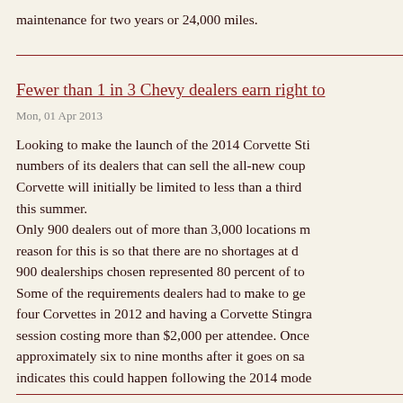maintenance for two years or 24,000 miles.
Fewer than 1 in 3 Chevy dealers earn right to
Mon, 01 Apr 2013
Looking to make the launch of the 2014 Corvette Sti numbers of its dealers that can sell the all-new cou Corvette will initially be limited to less than a third this summer. Only 900 dealers out of more than 3,000 locations m reason for this is so that there are no shortages at d 900 dealerships chosen represented 80 percent of to Some of the requirements dealers had to make to ge four Corvettes in 2012 and having a Corvette Stingra session costing more than $2,000 per attendee. Once approximately six to nine months after it goes on sa indicates this could happen following the 2014 mode